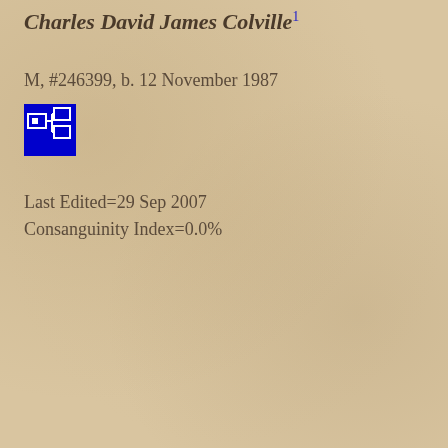Charles David James Colville
M, #246399, b. 12 November 1987
[Figure (other): Blue pedigree chart icon showing connected boxes]
Last Edited=29 Sep 2007
Consanguinity Index=0.0%